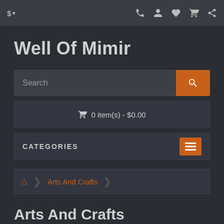$ ▾  [phone] [user] [heart] [cart] [share]
Well Of Mimir
Search
🛒 0 item(s) - $0.00
CATEGORIES
🏠 › Arts And Crafts
Arts And Crafts
Product Compare (0)